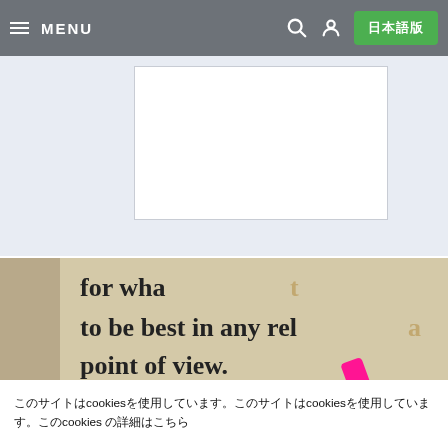MENU
[Figure (photo): Dictionary page with the word 'Language' highlighted in pink marker. Text visible: 'for what', 'to be best in any rela', 'point of view.', 'Language', 'cat']
このサイトはcookiesを使用しています。このサイトはcookiesを使用しています。cookies の詳細はこちら
More info
承認して続ける